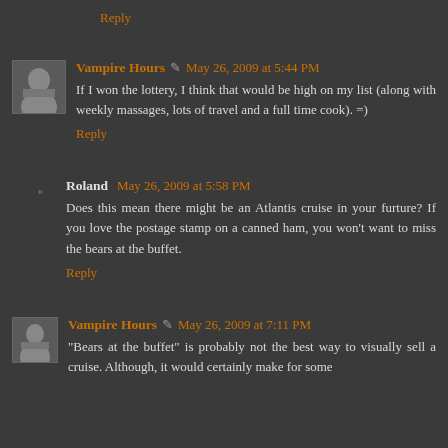Reply
Vampire Hours • May 26, 2009 at 5:44 PM
If I won the lottery, I think that would be high on my list (along with weekly massages, lots of travel and a full time cook). =)
Reply
Roland May 26, 2009 at 5:58 PM
Does this mean there might be an Atlantis cruise in your furture? If you love the postage stamp on a canned ham, you won't want to miss the bears at the buffet.
Reply
Vampire Hours • May 26, 2009 at 7:11 PM
"Bears at the buffet" is probably not the best way to visually sell a cruise. Although, it would certainly make for some